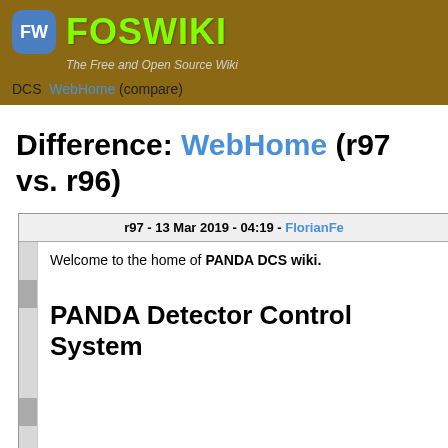FW FOSWIKI The Free and Open Source Wiki
DCS WebHome (compare)
Difference: WebHome (r97 vs. r96)
| r97 - 13 Mar 2019 - 04:19 - FlorianFe |
| --- |
| Welcome to the home of PANDA DCS wiki. |
| PANDA Detector Control System |